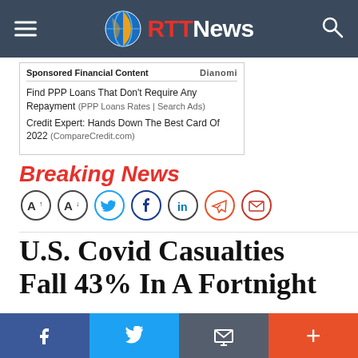RTTNews
Sponsored Financial Content   Dianomi
Find PPP Loans That Don't Require Any Repayment (PPP Loans Rates | Search Ads)
Credit Expert: Hands Down The Best Card Of 2022 (CompareCredit.com)
Breaking News
[Figure (other): Social sharing icons row: font size increase, font size decrease, Twitter, Facebook, LinkedIn, Telegram, Email]
U.S. Covid Casualties Fall 43% In A Fortnight
By RTTNews Staff Writer
Facebook share | Twitter share | Email share | More